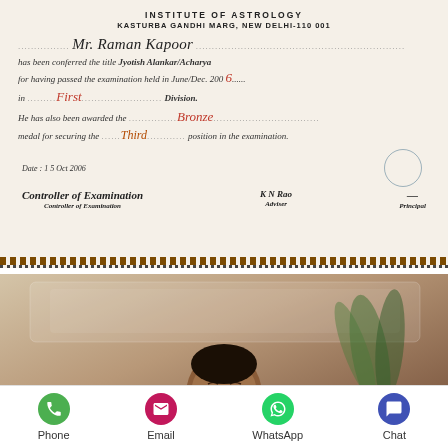[Figure (photo): Scanned certificate from Institute of Astrology, Kasturba Gandhi Marg, New Delhi-110 001, conferring the title Jyotish Alankar/Acharya to Mr. Raman Kapoor for passing examination in June/Dec. 2006 in First Division, awarded Bronze medal for Third position. Dated 15 Oct 2006, with signatures of Controller of Examination, Adviser (K N Rao), and Principal, with official stamp.]
[Figure (photo): Photograph of a middle-aged South Asian man seated indoors, with plants and decorated wall in background. A dark scroll-to-top button overlay is visible in the bottom-right corner of the photo.]
Phone | Email | WhatsApp | Chat